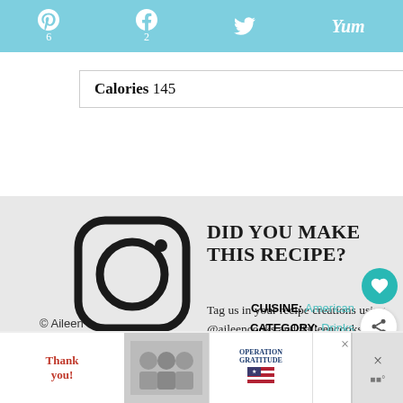Pinterest 6 | Facebook 2 | Twitter | Yummly
|  |
| --- |
| Calories 145 |
[Figure (infographic): Instagram logo (rounded square with circle and dot)]
DID YOU MAKE THIS RECIPE?
Tag us in your recipe creations using @aileencooks and #aileencooks.
© Aileen
CUISINE: American
CATEGORY: Drinks
[Figure (photo): Advertisement banner with thank you image and Operation Gratitude banner]
× ×